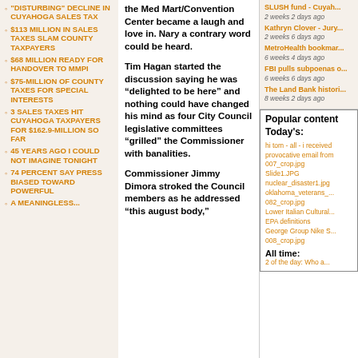"DISTURBING" DECLINE IN CUYAHOGA SALES TAX
$113 MILLION IN SALES TAXES SLAM COUNTY TAXPAYERS
$68 MILLION READY FOR HANDOVER TO MMPI
$75-MILLION OF COUNTY TAXES FOR SPECIAL INTERESTS
3 SALES TAXES HIT CUYAHOGA TAXPAYERS FOR $162.9-MILLION SO FAR
45 YEARS AGO I COULD NOT IMAGINE TONIGHT
74 PERCENT SAY PRESS BIASED TOWARD POWERFUL
A MEANINGLESS...
the Med Mart/Convention Center became a laugh and love in. Nary a contrary word could be heard.
Tim Hagan started the discussion saying he was “delighted to be here” and nothing could have changed his mind as four City Council legislative committees “grilled” the Commissioner with banalities.
Commissioner Jimmy Dimora stroked the Council members as he addressed “this august body,”
SLUSH fund - Cuyah...
2 weeks 2 days ago
Kathryn Clover - Jury...
2 weeks 6 days ago
MetroHealth bookmar...
6 weeks 4 days ago
FBI pulls subpoenas o...
6 weeks 6 days ago
The Land Bank histori...
8 weeks 2 days ago
Popular content
Today's:
hi tom - all - i received provocative email from
007_crop.jpg
Slide1.JPG
nuclear_disaster1.jpg
oklahoma_veterans_...
082_crop.jpg
Lower Italian Cultural...
EPA definitions
George Group Nike S...
008_crop.jpg
All time:
2 of the day: Who a...